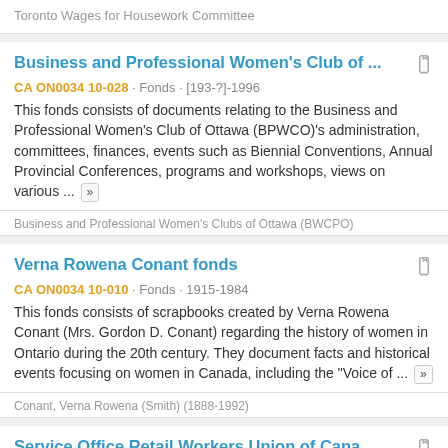Toronto Wages for Housework Committee
Business and Professional Women's Club of ...
CA ON0034 10-028 · Fonds · [193-?]-1996
This fonds consists of documents relating to the Business and Professional Women's Club of Ottawa (BPWCO)'s administration, committees, finances, events such as Biennial Conventions, Annual Provincial Conferences, programs and workshops, views on various ...
Business and Professional Women's Clubs of Ottawa (BWCPO)
Verna Rowena Conant fonds
CA ON0034 10-010 · Fonds · 1915-1984
This fonds consists of scrapbooks created by Verna Rowena Conant (Mrs. Gordon D. Conant) regarding the history of women in Ontario during the 20th century. They document facts and historical events focusing on women in Canada, including the "Voice of ...
Conant, Verna Rowena (Smith) (1888-1992)
Service Office Retail Workers Union of Cana...
CA ON0034 10-062 · Fonds · 1970-198-